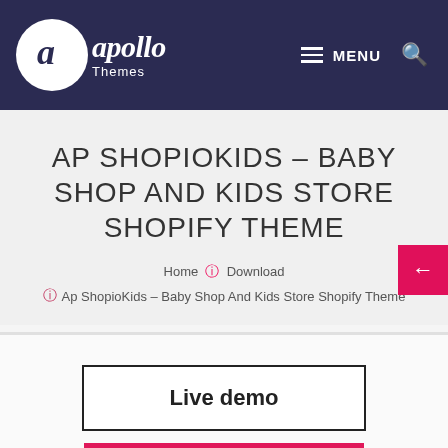Apollo Themes — MENU
AP SHOPIOKIDS – BABY SHOP AND KIDS STORE SHOPIFY THEME
Home > Download
> Ap ShopioKids – Baby Shop And Kids Store Shopify Theme
Live demo
$69.00 – Purchase